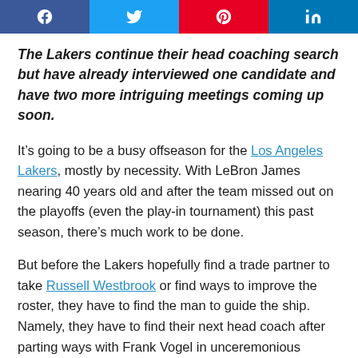[Figure (infographic): Social media share buttons row: Facebook (dark blue), Twitter (light blue), Pinterest (red), LinkedIn (blue), each with white icon]
The Lakers continue their head coaching search but have already interviewed one candidate and have two more intriguing meetings coming up soon.
It’s going to be a busy offseason for the Los Angeles Lakers, mostly by necessity. With LeBron James nearing 40 years old and after the team missed out on the playoffs (even the play-in tournament) this past season, there’s much work to be done.
But before the Lakers hopefully find a trade partner to take Russell Westbrook or find ways to improve the roster, they have to find the man to guide the ship. Namely, they have to find their next head coach after parting ways with Frank Vogel in unceremonious fashion after the 2021-22